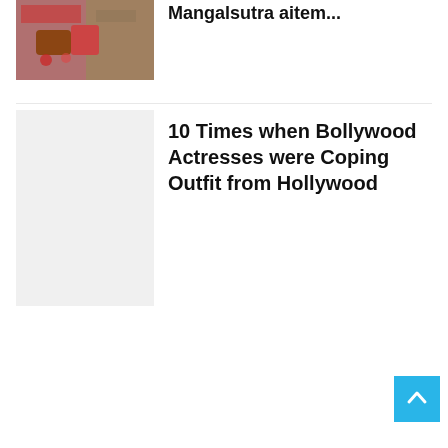[Figure (photo): Photo of a couple, bride with henna/mehndi on hands and red/gold jewelry, mangalsutra visible]
Mangalsutra aitem...
[Figure (photo): Light gray placeholder image for Bollywood article]
10 Times when Bollywood Actresses were Coping Outfit from Hollywood